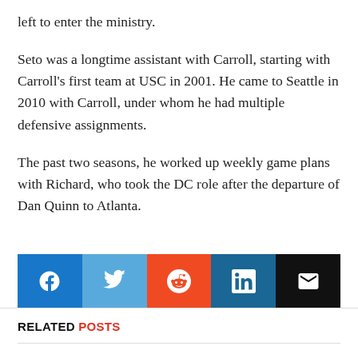left to enter the ministry.
Seto was a longtime assistant with Carroll, starting with Carroll's first team at USC in 2001. He came to Seattle in 2010 with Carroll, under whom he had multiple defensive assignments.
The past two seasons, he worked up weekly game plans with Richard, who took the DC role after the departure of Dan Quinn to Atlanta.
[Figure (infographic): Social share buttons row: Facebook (blue), Twitter (light blue), Reddit (orange), LinkedIn (dark blue), Email (black)]
RELATED POSTS